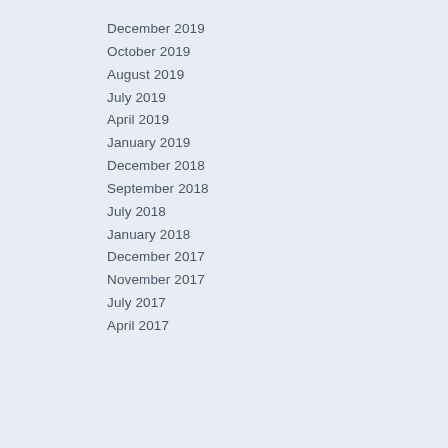December 2019
October 2019
August 2019
July 2019
April 2019
January 2019
December 2018
September 2018
July 2018
January 2018
December 2017
November 2017
July 2017
April 2017